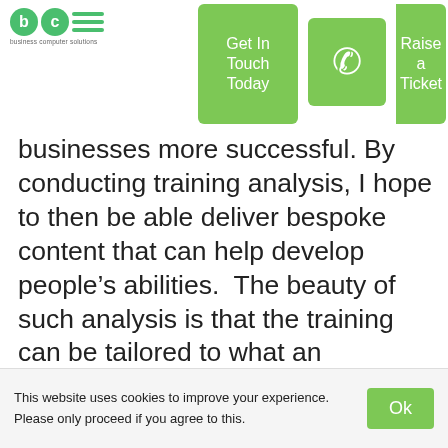[Figure (logo): BCS Business Computer Solutions logo with green circular icons and horizontal lines]
Get In Touch Today | [phone icon] | Raise a Ticket
businesses more successful. By conducting training analysis, I hope to then be able deliver bespoke content that can help develop people's abilities.  The beauty of such analysis is that the training can be tailored to what an individual requires, rather than attempting a one size fits all approach. This means our customers are really getting the best out of themselves.
My short time at BCS so far has been brilliant, and it is a testament to the team how easily I
This website uses cookies to improve your experience. Please only proceed if you agree to this.